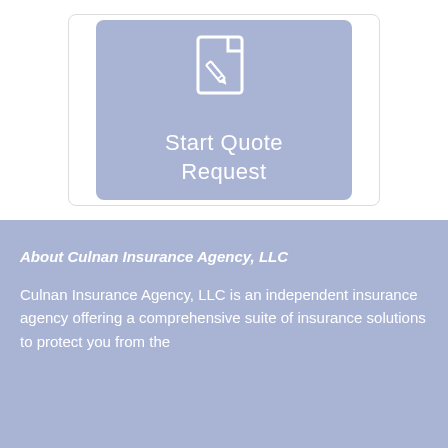[Figure (illustration): A blue-purple rounded card with a white document/pen icon at the top and the text 'Start Quote Request' below it]
About Culnan Insurance Agency, LLC
Culnan Insurance Agency, LLC is an independent insurance agency offering a comprehensive suite of insurance solutions to protect you from the